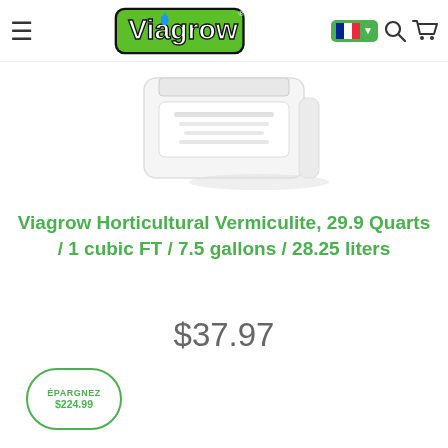[Figure (logo): Viagrow brand logo with green lettering and blue water drop]
[Figure (photo): Product image of Viagrow Horticultural Vermiculite bag, white background]
Viagrow Horticultural Vermiculite, 29.9 Quarts / 1 cubic FT / 7.5 gallons / 28.25 liters
$37.97
ÉPARGNEZ $224.99